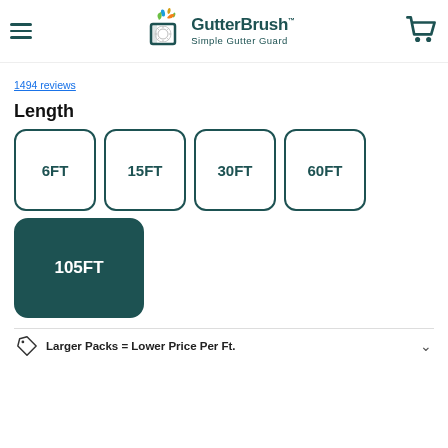GutterBrush Simple Gutter Guard
1494 reviews
Length
6FT
15FT
30FT
60FT
105FT
Larger Packs = Lower Price Per Ft.